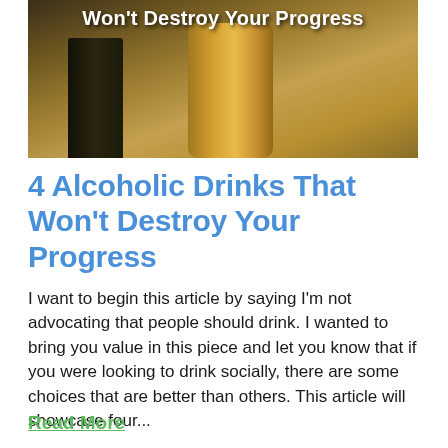[Figure (photo): Photo of alcoholic drinks (dark bottle and golden beer cup) with white bold text overlay reading 'Won't Destroy Your Progress']
4 Alcoholic Drinks That Won't Destroy Your Progress
I want to begin this article by saying I'm not advocating that people should drink. I wanted to bring you value in this piece and let you know that if you were looking to drink socially, there are some choices that are better than others. This article will showcase four...
Read More